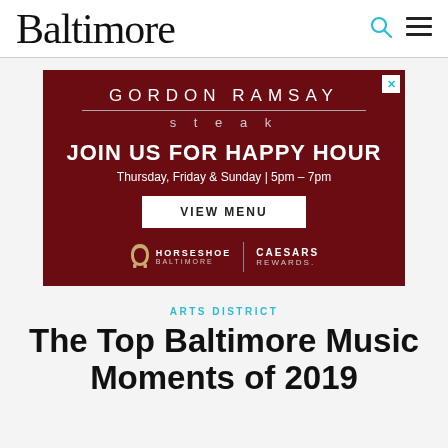Baltimore
[Figure (infographic): Advertisement for Gordon Ramsay Steak at Horseshoe Baltimore Casino. Dark red background with text: GORDON RAMSAY steak, JOIN US FOR HAPPY HOUR, Thursday, Friday & Sunday | 5pm - 7pm, VIEW MENU button, Horseshoe Baltimore | Caesars Rewards logos.]
ARTS DISTRICT
The Top Baltimore Music Moments of 2019